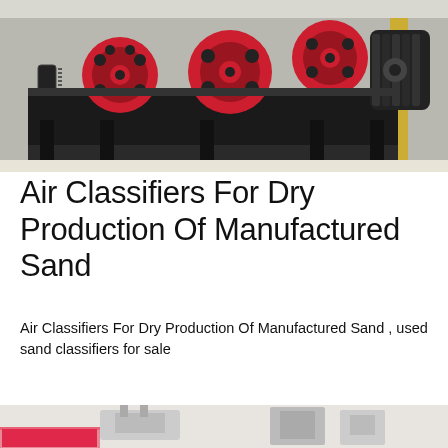[Figure (photo): Industrial machinery with red and black wheels/rollers arranged in a row on a metal frame in a factory setting]
Air Classifiers For Dry Production Of Manufactured Sand
Air Classifiers For Dry Production Of Manufactured Sand , used sand classifiers for sale
tin ore raymond mill priceincamin lead and zinc ore raymond roller mill for sale Lead And Zinc Ore , Grinding Mill Sale,Grinder Gold Powder Mill Gold Ore.
MORE INFO
[Figure (photo): Industrial machinery/equipment shown at the bottom of the page]